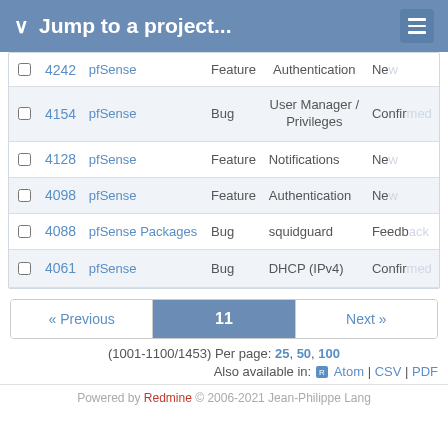Jump to a project...
|  | # | Project | Tracker | Category | Status |
| --- | --- | --- | --- | --- | --- |
| ☐ | 4242 | pfSense | Feature | Authentication | New |
| ☐ | 4154 | pfSense | Bug | User Manager / Privileges | Confirmed |
| ☐ | 4128 | pfSense | Feature | Notifications | New |
| ☐ | 4098 | pfSense | Feature | Authentication | New |
| ☐ | 4088 | pfSense Packages | Bug | squidguard | Feedback |
| ☐ | 4061 | pfSense | Bug | DHCP (IPv4) | Confirmed |
« Previous   11   Next »
(1001-1100/1453) Per page: 25, 50, 100
Also available in: Atom | CSV | PDF
Powered by Redmine © 2006-2021 Jean-Philippe Lang